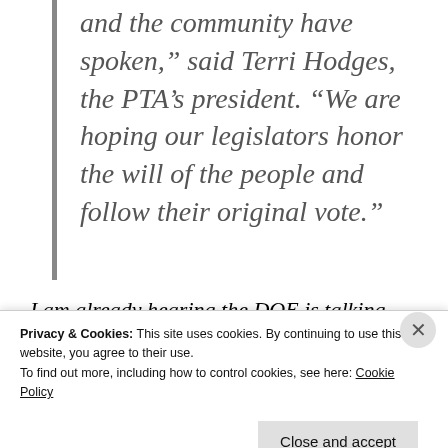and the community have spoken," said Terri Hodges, the PTA's president. "We are hoping our legislators honor the will of the people and follow their original vote."
I am already hearing the DOE is talking
Privacy & Cookies: This site uses cookies. By continuing to use this website, you agree to their use.
To find out more, including how to control cookies, see here: Cookie Policy
Close and accept